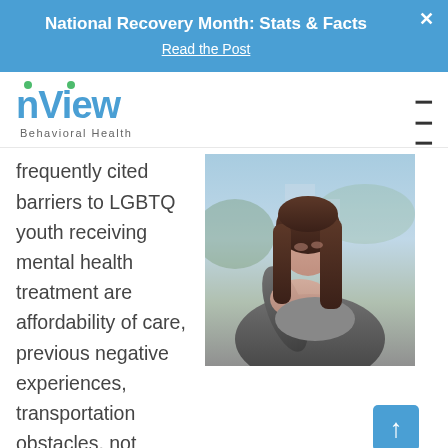National Recovery Month: Stats & Facts
Read the Post
[Figure (logo): nView Behavioral Health logo with blue text and two green dots above the n and i]
frequently cited barriers to LGBTQ youth receiving mental health treatment are affordability of care, previous negative experiences, transportation obstacles, not
[Figure (photo): Young woman with long brown hair sitting with knees drawn up, head bowed, looking sad or depressed, blurred outdoor background]